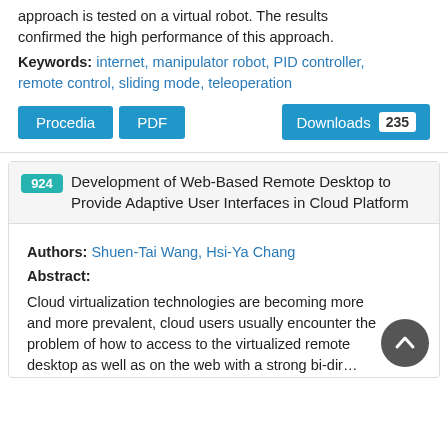…compared with a classic PID controller. The developed approach is tested on a virtual robot. The results confirmed the high performance of this approach.
Keywords: internet, manipulator robot, PID controller, remote control, sliding mode, teleoperation
[Figure (infographic): Two blue buttons labeled 'Procedia' and 'PDF', and a blue 'Downloads 235' badge on the right.]
924 Development of Web-Based Remote Desktop to Provide Adaptive User Interfaces in Cloud Platform
Authors: Shuen-Tai Wang, Hsi-Ya Chang
Abstract:
Cloud virtualization technologies are becoming more and more prevalent, cloud users usually encounter the problem of how to access to the virtualized remote desktop as well as on the web with a strong bi-directional…